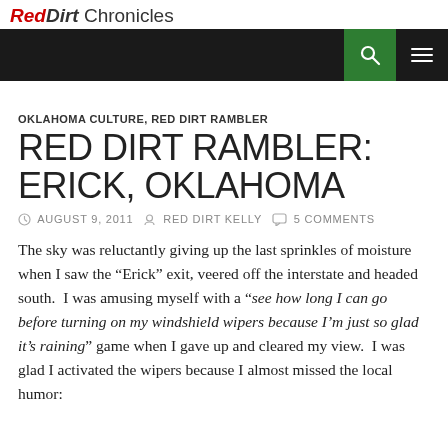RedDirt Chronicles
OKLAHOMA CULTURE, RED DIRT RAMBLER
RED DIRT RAMBLER: ERICK, OKLAHOMA
AUGUST 9, 2011  RED DIRT KELLY  5 COMMENTS
The sky was reluctantly giving up the last sprinkles of moisture when I saw the “Erick” exit, veered off the interstate and headed south.  I was amusing myself with a “see how long I can go before turning on my windshield wipers because I’m just so glad it’s raining” game when I gave up and cleared my view.  I was glad I activated the wipers because I almost missed the local humor: